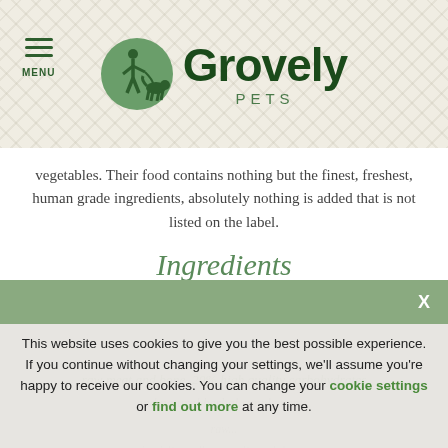[Figure (logo): Grovely Pets logo with circular green emblem showing a person walking a dog, and bold dark green 'Grovely' text with 'PETS' subtitle]
vegetables. Their food contains nothing but the finest, freshest, human grade ingredients, absolutely nothing is added that is not listed on the label.
Ingredients
Formulated for Active Working dogs consisting of 80% raw meat and bone, 20% high quality carbohydrates and natural herbal supplements.
This website uses cookies to give you the best possible experience. If you continue without changing your settings, we'll assume you're happy to receive our cookies. You can change your cookie settings or find out more at any time.